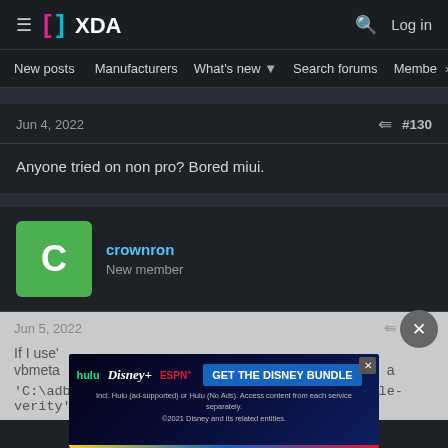XDA Forums — Navigation header with logo, search, and Log in
New posts  Manufacturers  What's new  Search forums  Membe  >
Jun 4, 2022   #130
Anyone tried on non pro? Bored miui.
crownron
New member
Jun 5, 2022   #131
If I use   vbmeta   'C:\adb\fastboot.exe: unknown option -- disable-verity'
[Figure (screenshot): Disney Bundle advertisement banner: hulu, Disney+, ESPN+ logos with GET THE DISNEY BUNDLE CTA button and fine print]